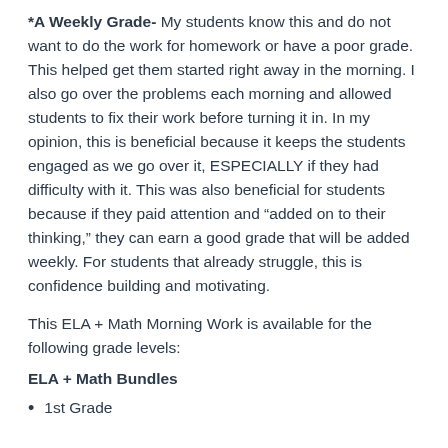*A Weekly Grade- My students know this and do not want to do the work for homework or have a poor grade. This helped get them started right away in the morning. I also go over the problems each morning and allowed students to fix their work before turning it in. In my opinion, this is beneficial because it keeps the students engaged as we go over it, ESPECIALLY if they had difficulty with it. This was also beneficial for students because if they paid attention and "added on to their thinking," they can earn a good grade that will be added weekly. For students that already struggle, this is confidence building and motivating.
This ELA + Math Morning Work is available for the following grade levels:
ELA + Math Bundles
1st Grade